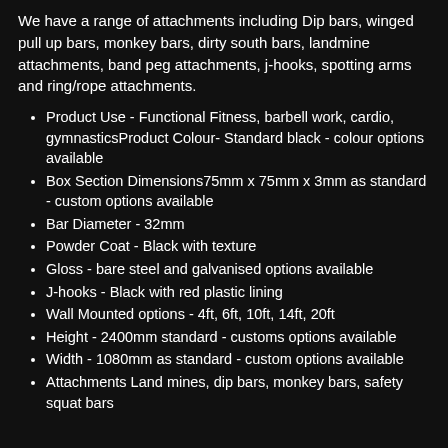We have a range of attachments including Dip bars, winged pull up bars, monkey bars, dirty south bars, landmine attachments, band peg attachments, j-hooks, spotting arms and ring/rope attachments.
Product Use - Functional Fitness, barbell work, cardio, gymnasticsProduct Colour- Standard black - colour options available
Box Section Dimensions75mm x 75mm x 3mm as standard - custom options available
Bar Diameter - 32mm
Powder Coat - Black with texture
Gloss - bare steel and galvanised options available
J-hooks - Black with red plastic lining
Wall Mounted options - 4ft, 6ft, 10ft, 14ft, 20ft
Height - 2400mm standard - customs options available
Width - 1080mm as standard - custom options available
Attachments Land mines, dip bars, monkey bars, safety squat bars